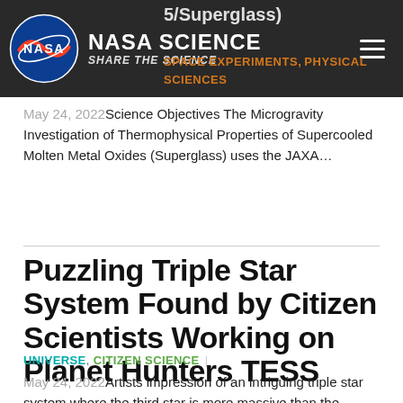NASA SCIENCE | SHARE THE SCIENCE
5/Superglass)
SPACE EXPERIMENTS, PHYSICAL SCIENCES
May 24, 2022 Science Objectives The Microgravity Investigation of Thermophysical Properties of Supercooled Molten Metal Oxides (Superglass) uses the JAXA…
Puzzling Triple Star System Found by Citizen Scientists Working on Planet Hunters TESS
UNIVERSE, CITIZEN SCIENCE
May 24, 2022 Artists impression of an intriguing triple star system where the third star is more massive than the combined mass of the two stars in